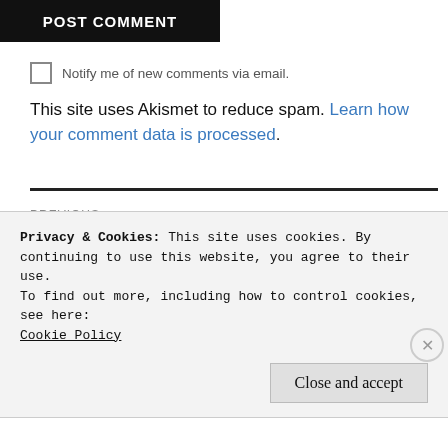POST COMMENT
Notify me of new comments via email.
This site uses Akismet to reduce spam. Learn how your comment data is processed.
PREVIOUS
Professors Hate Own Field of Study
Privacy & Cookies: This site uses cookies. By continuing to use this website, you agree to their use.
To find out more, including how to control cookies, see here: Cookie Policy
Close and accept